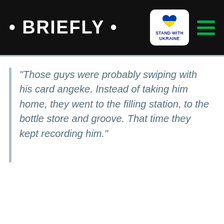• BRIEFLY •
"Those guys were probably swiping with his card angeke. Instead of taking him home, they went to the filling station, to the bottle store and groove. That time they kept recording him."